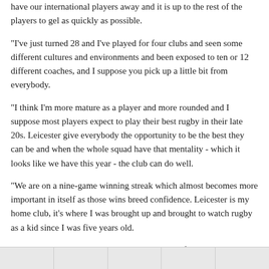have our international players away and it is up to the rest of the players to gel as quickly as possible.
"I've just turned 28 and I've played for four clubs and seen some different cultures and environments and been exposed to ten or 12 different coaches, and I suppose you pick up a little bit from everybody.
"I think I'm more mature as a player and more rounded and I suppose most players expect to play their best rugby in their late 20s. Leicester give everybody the opportunity to be the best they can be and when the whole squad have that mentality - which it looks like we have this year - the club can do well.
"We are on a nine-game winning streak which almost becomes more important in itself as those wins breed confidence. Leicester is my home club, it's where I was brought up and brought to watch rugby as a kid since I was five years old.
"My goal is just to be associated with Leicester for as long as possible in a playing capacity and when I get the chance give the coaches a selection headache."
To find out if Leicester can extend their winning streak, click here  ⧉ for tickets.